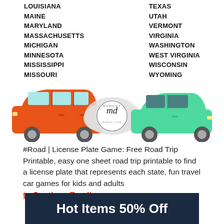LOUISIANA
MAINE
MARYLAND
MASSACHUSETTS
MICHIGAN
MINNESOTA
MISSISSIPPI
MISSOURI
TEXAS
UTAH
VERMONT
VIRGINIA
WASHINGTON
WEST VIRGINIA
WISCONSIN
WYOMING
[Figure (illustration): Orange minivan on left and green sedan on right with a cloud logo (md / momdot) in the middle, road trip themed illustration]
#Road | License Plate Game: Free Road Trip Printable, easy one sheet road trip printable to find a license plate that represents each state, fun travel car games for kids and adults
to Continue Reading.......
Hot Items 50% Off